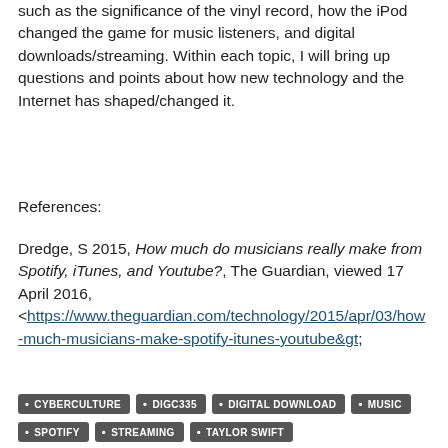such as the significance of the vinyl record, how the iPod changed the game for music listeners, and digital downloads/streaming. Within each topic, I will bring up questions and points about how new technology and the Internet has shaped/changed it.
References:
Dredge, S 2015, How much do musicians really make from Spotify, iTunes, and Youtube?, The Guardian, viewed 17 April 2016, <https://www.theguardian.com/technology/2015/apr/03/how-much-musicians-make-spotify-itunes-youtube&gt;
CYBERCULTURE
DIGC335
DIGITAL DOWNLOAD
MUSIC
SPOTIFY
STREAMING
TAYLOR SWIFT